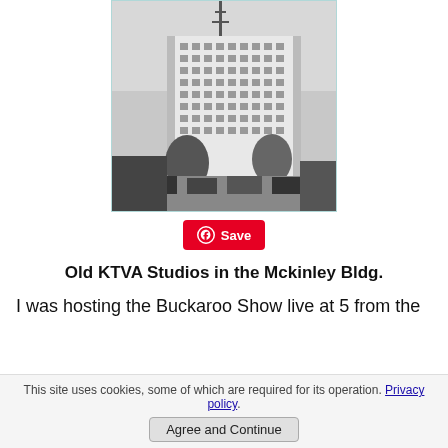[Figure (photo): Black and white photograph of a tall multi-story building (Mckinley Building) with a radio antenna on top, cars and trees visible at street level, light blue border around image.]
Old KTVA Studios in the Mckinley Bldg.
I was hosting the Buckaroo Show live at 5 from the
This site uses cookies, some of which are required for its operation. Privacy policy.
Agree and Continue